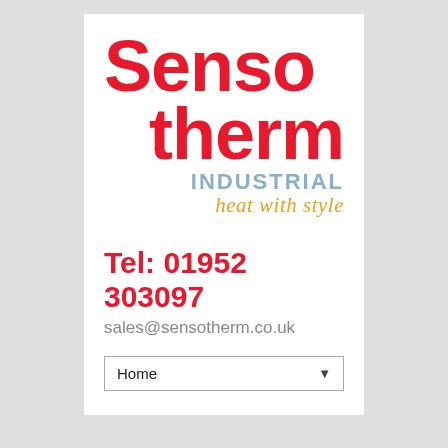[Figure (logo): Sensotherm Industrial logo with red bold 'Senso' and 'therm' text, steel blue 'INDUSTRIAL' text, and orange italic 'heat with style' tagline]
Tel: 01952 303097
sales@sensotherm.co.uk
Home